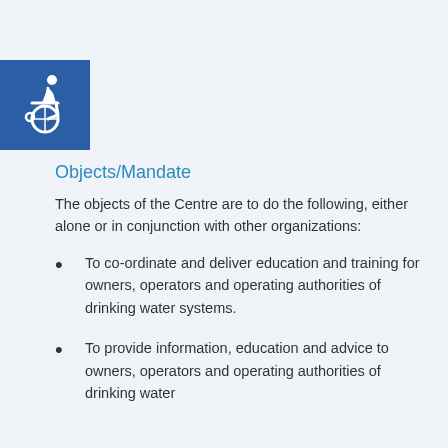[Figure (illustration): Blue square icon with white wheelchair accessibility symbol]
Objects/Mandate
The objects of the Centre are to do the following, either alone or in conjunction with other organizations:
To co-ordinate and deliver education and training for owners, operators and operating authorities of drinking water systems.
To provide information, education and advice to owners, operators and operating authorities of drinking water